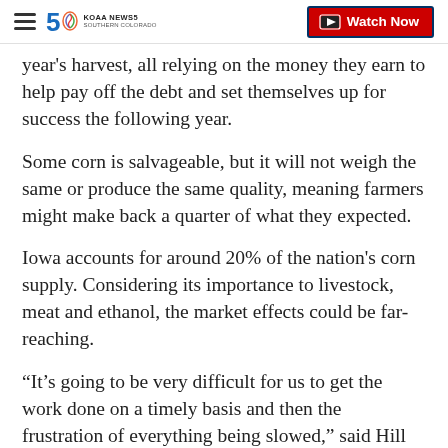KOAA News5 Southern Colorado — Watch Now
year's harvest, all relying on the money they earn to help pay off the debt and set themselves up for success the following year.
Some corn is salvageable, but it will not weigh the same or produce the same quality, meaning farmers might make back a quarter of what they expected.
Iowa accounts for around 20% of the nation's corn supply. Considering its importance to livestock, meat and ethanol, the market effects could be far-reaching.
“It’s going to be very difficult for us to get the work done on a timely basis and then the frustration of everything being slowed,” said Hill of the impending